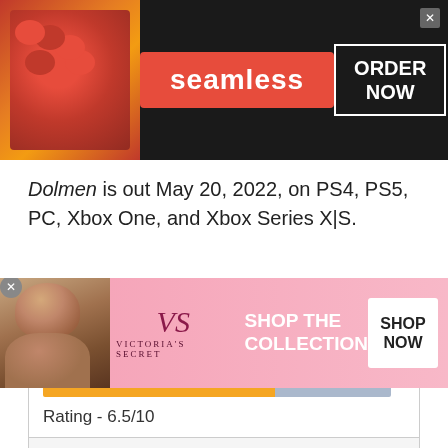[Figure (screenshot): Seamless food delivery advertisement banner with pizza image, red Seamless logo, and ORDER NOW button on dark background]
Dolmen is out May 20, 2022, on PS4, PS5, PC, Xbox One, and Xbox Series X|S.
| Dolmen |
| --- |
| Rating bar: 6.5/10 |
| Rating - 6.5/10 |
Privacy & Cookies: This site uses cookies. By continuing to use this website,
[Figure (screenshot): Victoria's Secret advertisement with model, VS logo, SHOP THE COLLECTION text, and SHOP NOW button on pink background]